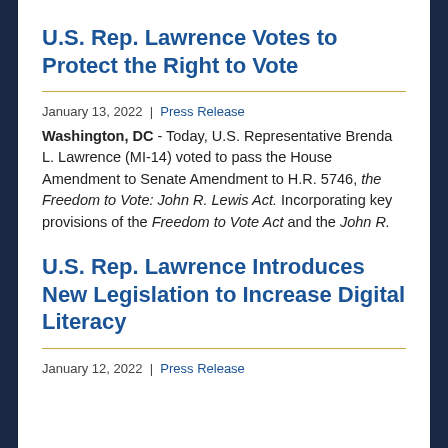U.S. Rep. Lawrence Votes to Protect the Right to Vote
January 13, 2022 | Press Release
Washington, DC - Today, U.S. Representative Brenda L. Lawrence (MI-14) voted to pass the House Amendment to Senate Amendment to H.R. 5746, the Freedom to Vote: John R. Lewis Act. Incorporating key provisions of the Freedom to Vote Act and the John R.
U.S. Rep. Lawrence Introduces New Legislation to Increase Digital Literacy
January 12, 2022 | Press Release